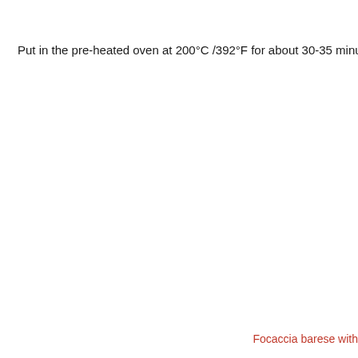Put in the pre-heated oven at 200°C /392°F for about 30-35 minutes and b
Focaccia barese with